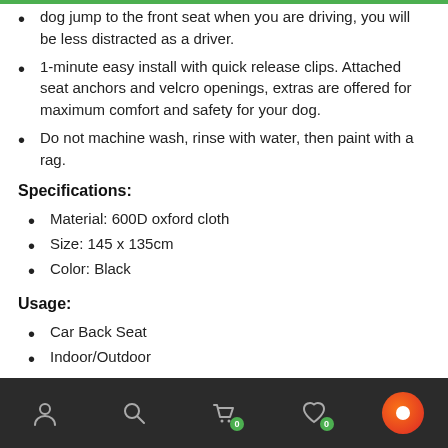dog jump to the front seat when you are driving, you will be less distracted as a driver.
1-minute easy install with quick release clips. Attached seat anchors and velcro openings, extras are offered for maximum comfort and safety for your dog.
Do not machine wash, rinse with water, then paint with a rag.
Specifications:
Material: 600D oxford cloth
Size: 145 x 135cm
Color: Black
Usage:
Car Back Seat
Indoor/Outdoor
Navigation bar with user, search, cart (0), wishlist (0), and chat icons